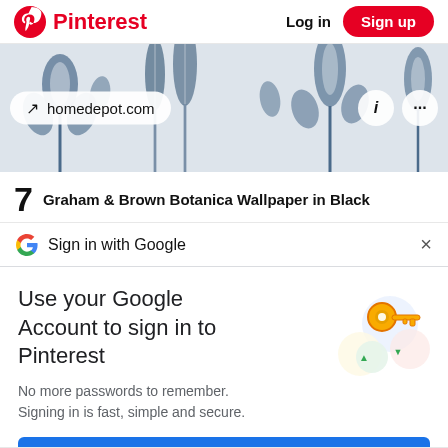Pinterest | Log in | Sign up
[Figure (screenshot): Pinterest image card with blue botanical wallpaper pattern, showing homedepot.com overlay pill with arrow icon, and info/more icons on the right]
7   Graham & Brown Botanica Wallpaper in Black
Sign in with Google
Use your Google Account to sign in to Pinterest
No more passwords to remember. Signing in is fast, simple and secure.
Continue